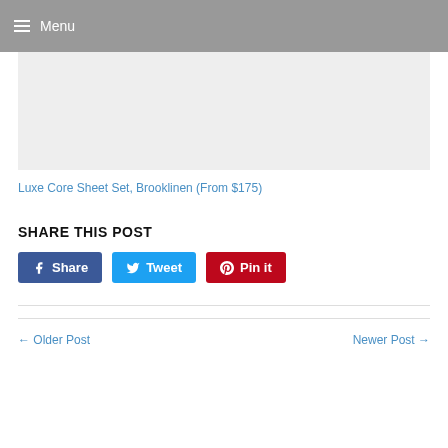Menu
[Figure (photo): Light gray image placeholder rectangle]
Luxe Core Sheet Set, Brooklinen (From $175)
SHARE THIS POST
Share | Tweet | Pin it
← Older Post | Newer Post →